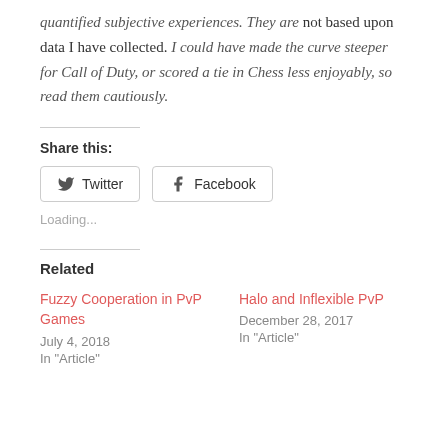quantified subjective experiences. They are not based upon data I have collected. I could have made the curve steeper for Call of Duty, or scored a tie in Chess less enjoyably, so read them cautiously.
Share this:
[Figure (other): Twitter and Facebook share buttons]
Loading...
Related
Fuzzy Cooperation in PvP Games
July 4, 2018
In "Article"
Halo and Inflexible PvP
December 28, 2017
In "Article"